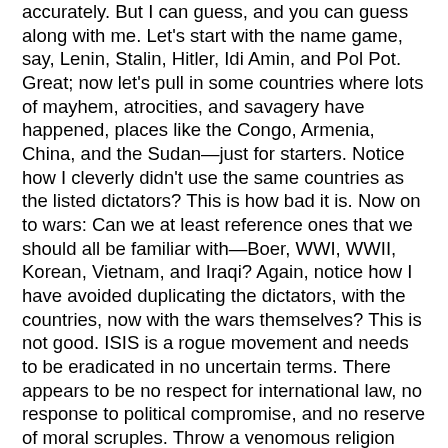accurately. But I can guess, and you can guess along with me. Let's start with the name game, say, Lenin, Stalin, Hitler, Idi Amin, and Pol Pot. Great; now let's pull in some countries where lots of mayhem, atrocities, and savagery have happened, places like the Congo, Armenia, China, and the Sudan—just for starters. Notice how I cleverly didn't use the same countries as the listed dictators? This is how bad it is. Now on to wars: Can we at least reference ones that we should all be familiar with—Boer, WWI, WWII, Korean, Vietnam, and Iraqi? Again, notice how I have avoided duplicating the dictators, with the countries, now with the wars themselves? This is not good. ISIS is a rogue movement and needs to be eradicated in no uncertain terms. There appears to be no respect for international law, no response to political compromise, and no reserve of moral scruples. Throw a venomous religion into the mix, and you have trouble. But is the long war on the infidels (ie., non-Muslims) the worst attack on any section of humanity we have ever experienced? Well, let me respond with a series of questions myself: Worse than the death march in Bataan? Worse than Hitler's gas chambers? Worse than the Soviet Gulag? Worse than the millions